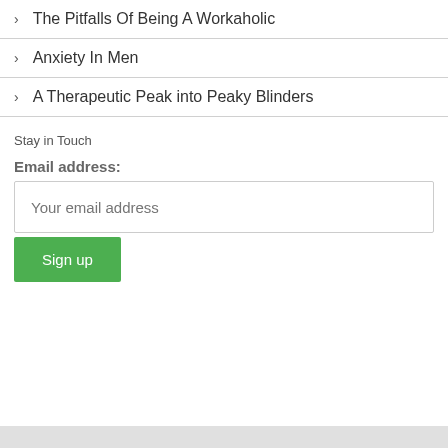> The Pitfalls Of Being A Workaholic
> Anxiety In Men
> A Therapeutic Peak into Peaky Blinders
Stay in Touch
Email address:
Your email address
Sign up